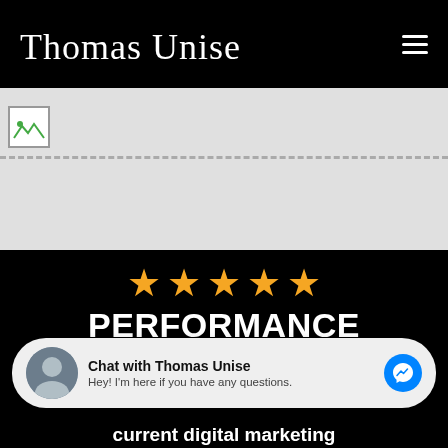Thomas Unise
[Figure (photo): Broken image placeholder in grey banner area with dashed divider line]
PERFORMANCE GUARANTEE
Chat with Thomas Unise
Hey! I'm here if you have any questions.
current digital marketing campaigns in 180 days. I'll work